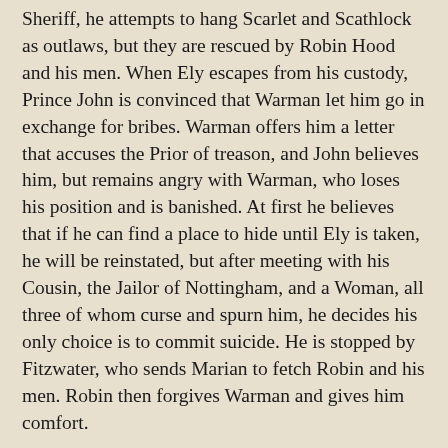Sheriff, he attempts to hang Scarlet and Scathlock as outlaws, but they are rescued by Robin Hood and his men. When Ely escapes from his custody, Prince John is convinced that Warman let him go in exchange for bribes. Warman offers him a letter that accuses the Prior of treason, and John believes him, but remains angry with Warman, who loses his position and is banished. At first he believes that if he can find a place to hide until Ely is taken, he will be reinstated, but after meeting with his Cousin, the Jailor of Nottingham, and a Woman, all three of whom curse and spurn him, he decides his only choice is to commit suicide. He is stopped by Fitzwater, who sends Marian to fetch Robin and his men. Robin then forgives Warman and gives him comfort.
II.
Warman is Robin Hood's steward in Munday and Chettle's Death of Robert, Earl of Huntington. He enters with Robin Hood and is told by him to shun solitary walks and become more cheerful. Unlike the Prior and Doncaster, he is truly repentant for his treachery against Robin Hood. When the two plotters ask him to join them in their plot to kill Robin, Warman is appalled and declares at length his loyalty to